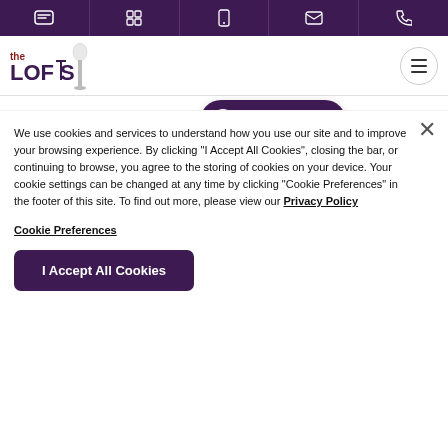[Icon bar: chat, grid, mobile, email, phone]
[Figure (logo): The Lofts logo with streetlamp graphic, red and dark text]
Chat with us.
Ratings & Reviews
We use cookies and services to understand how you use our site and to improve your browsing experience. By clicking "I Accept All Cookies", closing the bar, or continuing to browse, you agree to the storing of cookies on your device. Your cookie settings can be changed at any time by clicking "Cookie Preferences" in the footer of this site. To find out more, please view our Privacy Policy
Cookie Preferences
I Accept All Cookies